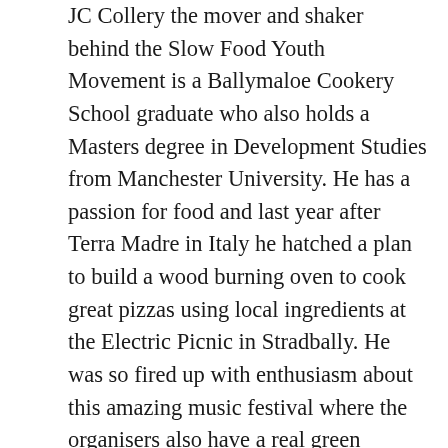JC Collery the mover and shaker behind the Slow Food Youth Movement is a Ballymaloe Cookery School graduate who also holds a Masters degree in Development Studies from Manchester University. He has a passion for food and last year after Terra Madre in Italy he hatched a plan to build a wood burning oven to cook great pizzas using local ingredients at the Electric Picnic in Stradbally. He was so fired up with enthusiasm about this amazing music festival where the organisers also have a real green mission to look after environmental issues and to provide a variety of good food for the 33,000 punters who flock to the 400 acre estate in Co Laois.